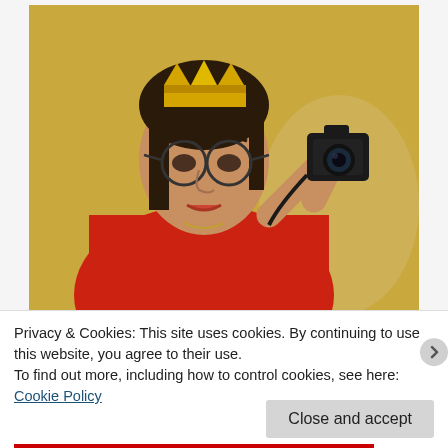[Figure (photo): A woman wearing glasses and a gold crown/tiara, dressed in a red top, holding a black camera up near her head as if taking a selfie in a mirror. The background is a beige/yellow wall.]
Fucking a Fnuch by Laurie Losson
Privacy & Cookies: This site uses cookies. By continuing to use this website, you agree to their use.
To find out more, including how to control cookies, see here: Cookie Policy
Close and accept